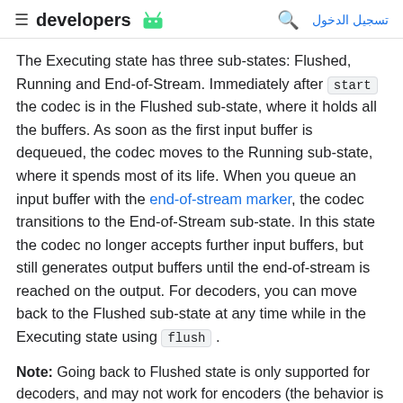≡ developers [android logo]  🔍  تسجيل الدخول
The Executing state has three sub-states: Flushed, Running and End-of-Stream. Immediately after start the codec is in the Flushed sub-state, where it holds all the buffers. As soon as the first input buffer is dequeued, the codec moves to the Running sub-state, where it spends most of its life. When you queue an input buffer with the end-of-stream marker, the codec transitions to the End-of-Stream sub-state. In this state the codec no longer accepts further input buffers, but still generates output buffers until the end-of-stream is reached on the output. For decoders, you can move back to the Flushed sub-state at any time while in the Executing state using flush .
Note: Going back to Flushed state is only supported for decoders, and may not work for encoders (the behavior is undefined).
Call ... returns the codec to the Initialized state ...